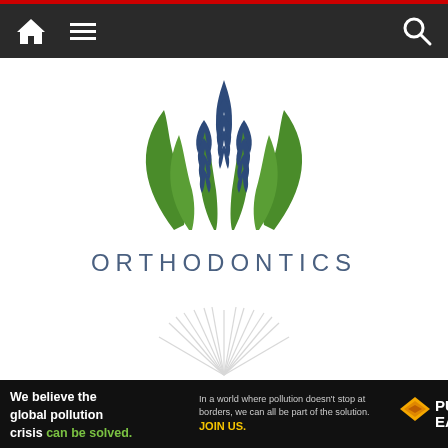[Figure (logo): Navigation bar with home icon, hamburger menu icon, and search icon on dark background with red top border]
[Figure (logo): Orthodontics logo: green leaf/grass W-shaped design with dark blue feather/wheat motifs in center, text ORTHODONTICS in steel blue spaced letters below]
[Figure (logo): Partial second logo: light gray agave/plant radiating lines design with text HOMETOWN in large serif spaced letters]
[Figure (infographic): Advertisement banner: 'We believe the global pollution crisis can be solved.' with Pure Earth logo on dark background]